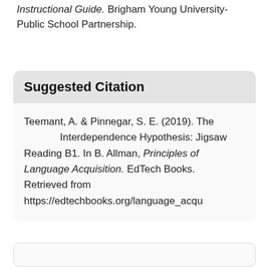Instructional Guide. Brigham Young University-Public School Partnership.
Suggested Citation
Teemant, A. & Pinnegar, S. E. (2019). The Interdependence Hypothesis: Jigsaw Reading B1. In B. Allman, Principles of Language Acquisition. EdTech Books. Retrieved from https://edtechbooks.org/language_acqu